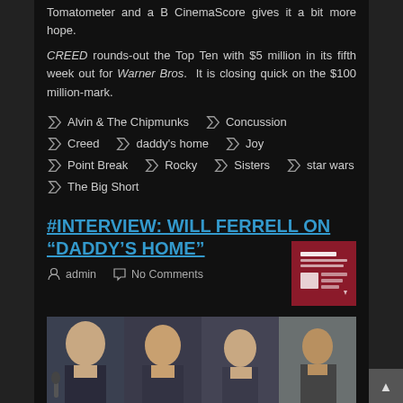Tomatometer and a B CinemaScore gives it a bit more hope.
CREED rounds-out the Top Ten with $5 million in its fifth week out for Warner Bros.  It is closing quick on the $100 million-mark.
Alvin & The Chipmunks
Concussion
Creed
daddy's home
Joy
Point Break
Rocky
Sisters
star wars
The Big Short
#INTERVIEW: WILL FERRELL ON “DADDY’S HOME”
admin   No Comments
[Figure (photo): Four panel photo strip showing Will Ferrell at what appears to be a press event or interview, including close-up and wider shots]